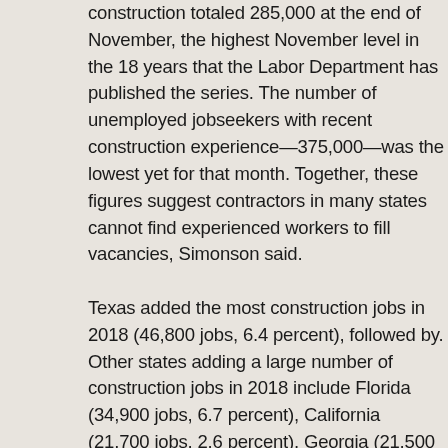construction totaled 285,000 at the end of November, the highest November level in the 18 years that the Labor Department has published the series. The number of unemployed jobseekers with recent construction experience—375,000—was the lowest yet for that month. Together, these figures suggest contractors in many states cannot find experienced workers to fill vacancies, Simonson said. Texas added the most construction jobs in 2018 (46,800 jobs, 6.4 percent), followed by. Other states adding a large number of construction jobs in 2018 include Florida (34,900 jobs, 6.7 percent), California (21,700 jobs, 2.6 percent), Georgia (21,500 jobs, 11.3 percent) and Arizona (18,900 jobs, 12.5 percent). Connecticut added the highest percentage of construction jobs in 2018 (16.9 percent, 9,700 jobs), followed by Wyoming (14.9 percent, 2,900 jobs), Arizona,